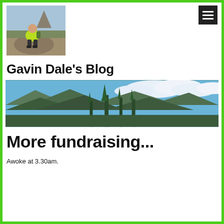[Figure (photo): Profile photo of a man in a yellow hi-vis shirt sitting on a rock with a mountain peak in the background]
[Figure (other): Dark square hamburger menu button with three white horizontal lines]
Gavin Dale's Blog
[Figure (photo): Wide panoramic landscape photo showing forested hills and mountains under a blue sky with clouds]
More fundraising...
Awoke at 3.30am.